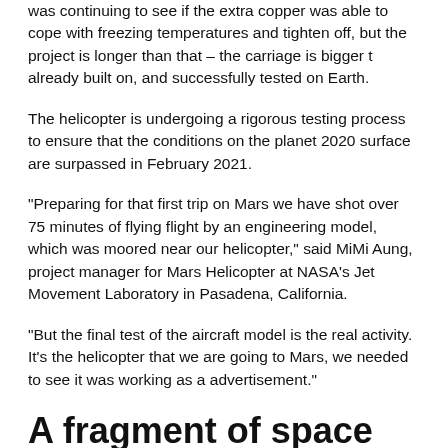was continuing to see if the extra copper was able to cope with freezing temperatures and tighten off, but the project is longer than that – the carriage is bigger t already built on, and successfully tested on Earth.
The helicopter is undergoing a rigorous testing process to ensure that the conditions on the planet 2020 surface are surpassed in February 2021.
"Preparing for that first trip on Mars we have shot over 75 minutes of flying flight by an engineering model, which was moored near our helicopter," said MiMi Aung, project manager for Mars Helicopter at NASA's Jet Movement Laboratory in Pasadena, California.
"But the final test of the aircraft model is the real activity. It's the helicopter that we are going to Mars, we needed to see it was working as a advertisement."
A fragment of space history